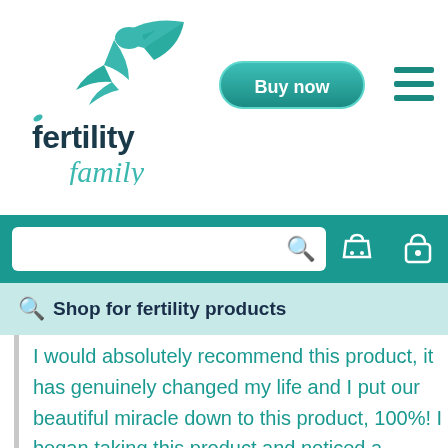[Figure (logo): Fertility Family logo with teal bird and script/sans-serif text]
[Figure (other): Buy now teal pill-shaped button]
[Figure (other): Hamburger menu icon (three teal horizontal lines)]
[Figure (other): Teal navigation bar with search input box, basket icon, and lock icon]
Shop for fertility products
I would absolutely recommend this product, it has genuinely changed my life and I put our beautiful miracle down to this product, 100%! I began taking this product and noticed a difference in my cycle within about 3 months (although my mood definitely settled much quicker than this!). Within a few months, I began to […]